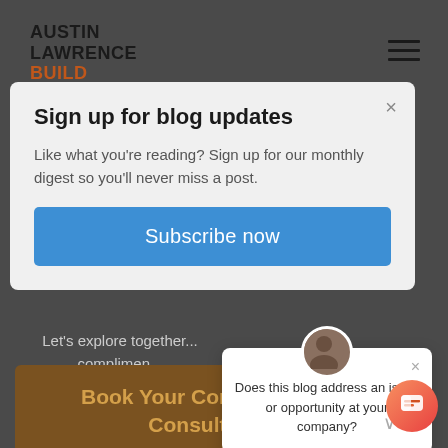[Figure (logo): Austin Lawrence Build Something logo — top two lines in dark/black, bottom two lines in orange/brown]
[Figure (illustration): Hamburger menu icon (three horizontal lines) in top-right corner]
Sign up for blog updates
Like what you're reading? Sign up for our monthly digest so you'll never miss a post.
Subscribe now
Let's explore together... complimen...
Book Your Complimentary Consultation
Does this blog address an issue or opportunity at your company?